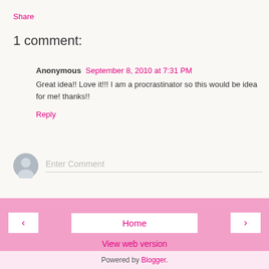Share
1 comment:
Anonymous September 8, 2010 at 7:31 PM
Great idea!! Love it!!! I am a procrastinator so this would be idea for me! thanks!!
Reply
Enter Comment
Home
View web version
Powered by Blogger.